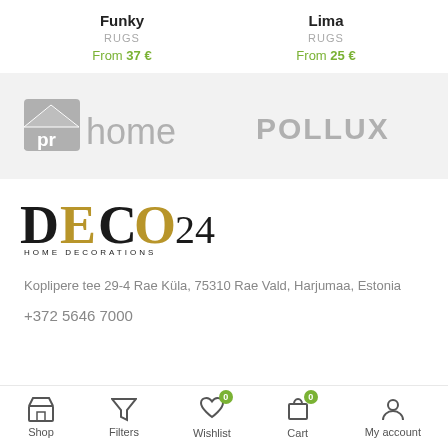Funky
RUGS
From 37 €
Lima
RUGS
From 25 €
[Figure (logo): pr home brand logo in grey]
[Figure (logo): POLLUX brand logo in grey]
[Figure (logo): DECO24 HOME DECORATIONS logo]
Koplipere tee 29-4 Rae Küla, 75310 Rae Vald, Harjumaa, Estonia
+372 5646 7000
Shop   Filters   Wishlist 0   Cart 0   My account